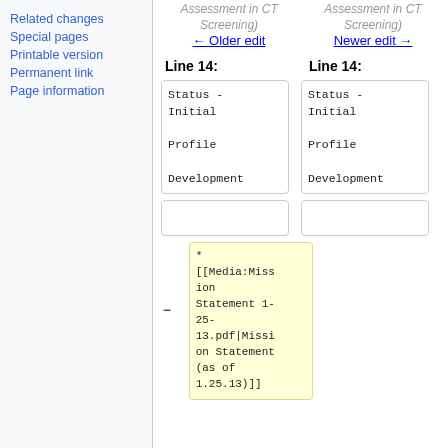Related changes
Special pages
Printable version
Permanent link
Page information
Assessment in CT Screening)
Assessment in CT Screening)
← Older edit
Newer edit →
Line 14:
Line 14:
Status - Initial Profile Development
Status - Initial Profile Development
* [[Media:Mission Statement 1-25-13.pdf|Mission Statement (as of 1.25.13)]]